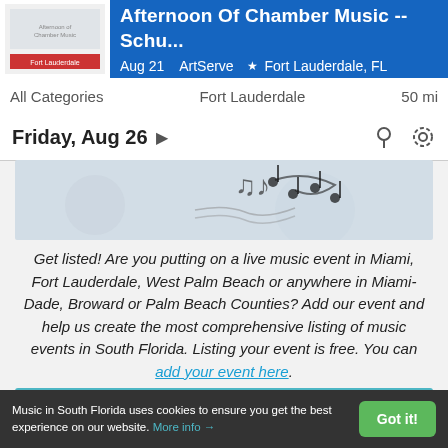[Figure (screenshot): Event banner for Afternoon Of Chamber Music at ArtServe, Fort Lauderdale FL on Aug 21, with blue background and event thumbnail image on left]
All Categories    Fort Lauderdale    50 mi
Friday, Aug 26 ◀▶
[Figure (photo): Partial photo of music notes on a light gray background]
Get listed! Are you putting on a live music event in Miami, Fort Lauderdale, West Palm Beach or anywhere in Miami-Dade, Broward or Palm Beach Counties? Add our event and help us create the most comprehensive listing of music events in South Florida. Listing your event is free. You can add your event here.
[Figure (other): Teal/cyan colored button or content area at bottom of page]
Music in South Florida uses cookies to ensure you get the best experience on our website. More info →   Got it!